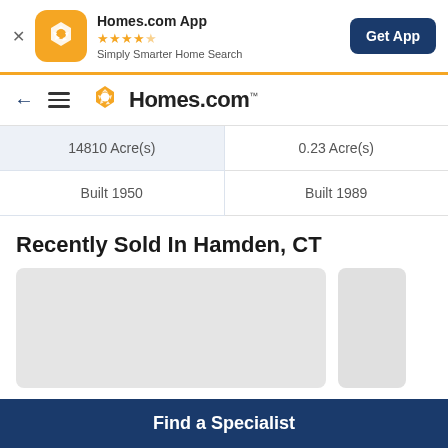[Figure (screenshot): Homes.com app banner with orange icon, star rating, and Get App button]
[Figure (logo): Homes.com navigation bar with back arrow, hamburger menu, and Homes.com logo]
| 14810 Acre(s) | 0.23 Acre(s) |
| Built 1950 | Built 1989 |
Recently Sold In Hamden, CT
[Figure (photo): Two property listing card placeholders (grey rectangles)]
Find a Specialist